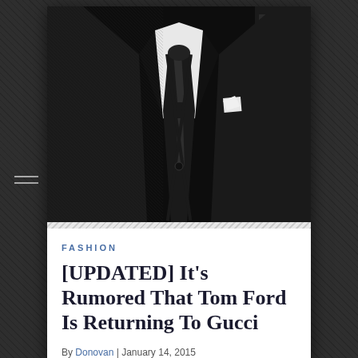[Figure (photo): Torso of a man wearing a sharp black suit with black lapels, white dress shirt, black silk cravat/tie, suspenders visible, and white pocket square. Background includes a piano and interior setting.]
FASHION
[UPDATED] It's Rumored That Tom Ford Is Returning To Gucci
By Donovan | January 14, 2015